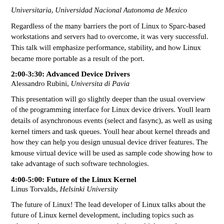Universitaria, Universidad Nacional Autonoma de Mexico
Regardless of the many barriers the port of Linux to Sparc-based workstations and servers had to overcome, it was very successful. This talk will emphasize performance, stability, and how Linux became more portable as a result of the port.
2:00-3:30: Advanced Device Drivers
Alessandro Rubini, Universita di Pavia
This presentation will go slightly deeper than the usual overview of the programming interface for Linux device drivers. Youll learn details of asynchronous events (select and fasync), as well as using kernel timers and task queues. Youll hear about kernel threads and how they can help you design unusual device driver features. The kmouse virtual device will be used as sample code showing how to take advantage of such software technologies.
4:00-5:00: Future of the Linux Kernel
Linus Torvalds, Helsinki University
The future of Linux! The lead developer of Linux talks about the future of Linux kernel development, including topics such as advanced memory management techniques, high-speed networking, and portability.